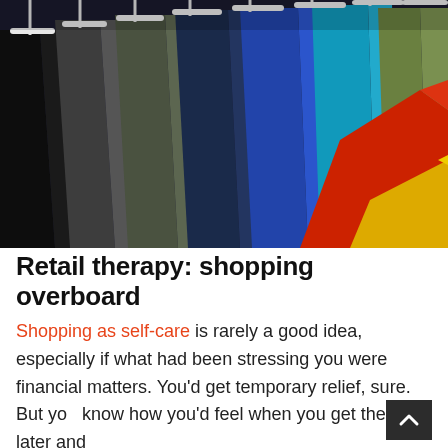[Figure (photo): Close-up photo of colorful t-shirts hanging on white hangers on a rack. Colors visible include black, dark gray, olive green, dark blue, royal blue, teal/cyan, medium green, red, and yellow, arranged from left to right.]
Retail therapy: shopping overboard
Shopping as self-care is rarely a good idea, especially if what had been stressing you were financial matters. You'd get temporary relief, sure. But you know how you'd feel when you get the bills later and